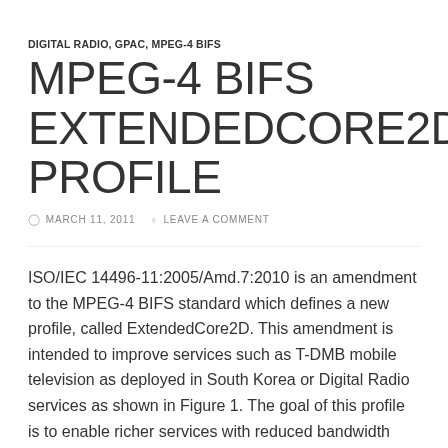DIGITAL RADIO, GPAC, MPEG-4 BIFS
MPEG-4 BIFS EXTENDEDCORE2D PROFILE
MARCH 11, 2011   LEAVE A COMMENT
ISO/IEC 14496-11:2005/Amd.7:2010 is an amendment to the MPEG-4 BIFS standard which defines a new profile, called ExtendedCore2D. This amendment is intended to improve services such as T-DMB mobile television as deployed in South Korea or Digital Radio services as shown in Figure 1. The goal of this profile is to enable richer services with reduced bandwidth requirements. It is based on the existing Core2D profile, extends it with existing tools from the MPEG-4 BIFS standard not yet included in the Core2D profile, and with